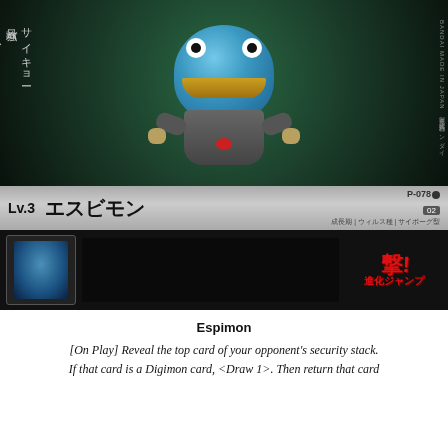[Figure (illustration): Digimon trading card featuring Espimon (エスビモン), a blue round robot-like Digimon character flying against a dark green background. Card shows Japanese text with game effect, card ID P-078, Lv.3, with an evolution card thumbnail and red logo at the bottom.]
Espimon
[On Play] Reveal the top card of your opponent's security stack. If that card is a Digimon card, <Draw 1>. Then return that card